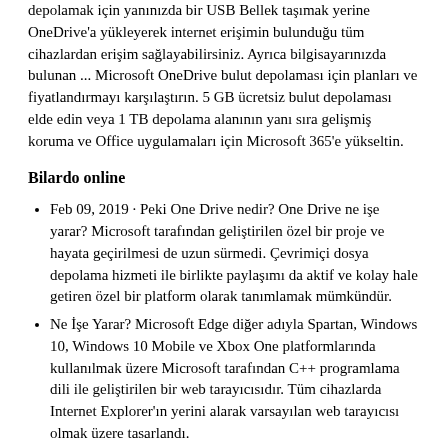depolamak için yanınızda bir USB Bellek taşımak yerine OneDrive'a yükleyerek internet erişimin bulunduğu tüm cihazlardan erişim sağlayabilirsiniz. Ayrıca bilgisayarınızda bulunan ... Microsoft OneDrive bulut depolaması için planları ve fiyatlandırmayı karşılaştırın. 5 GB ücretsiz bulut depolaması elde edin veya 1 TB depolama alanının yanı sıra gelişmiş koruma ve Office uygulamaları için Microsoft 365'e yükseltin.
Bilardo online
Feb 09, 2019 · Peki One Drive nedir? One Drive ne işe yarar? Microsoft tarafından geliştirilen özel bir proje ve hayata geçirilmesi de uzun sürmedi. Çevrimiçi dosya depolama hizmeti ile birlikte paylaşımı da aktif ve kolay hale getiren özel bir platform olarak tanımlamak mümkündür.
Ne İşe Yarar? Microsoft Edge diğer adıyla Spartan, Windows 10, Windows 10 Mobile ve Xbox One platformlarında kullanılmak üzere Microsoft tarafından C++ programlama dili ile geliştirilen bir web tarayıcısıdır. Tüm cihazlarda Internet Explorer'ın yerini alarak varsayılan web tarayıcısı olmak üzere tasarlandı.
Nov 28, 2021 · İnternet ve bilgisayar kullanımının daha da arttığı bu zamanlar da belgelerin korunması ve saklanması da büyük önem taşıyor. Kişiler, belgelerini güvenli bir